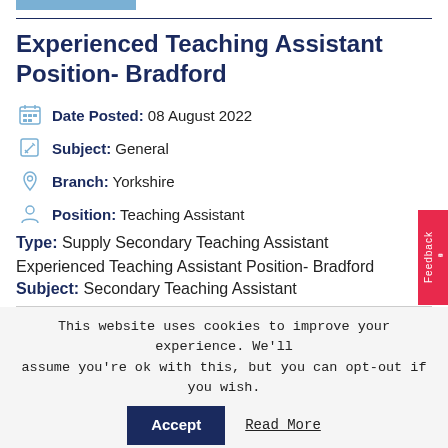Experienced Teaching Assistant Position- Bradford
Date Posted: 08 August 2022
Subject: General
Branch: Yorkshire
Position: Teaching Assistant
Type: Supply Secondary Teaching Assistant
Experienced Teaching Assistant Position- Bradford
Subject: Secondary Teaching Assistant
This website uses cookies to improve your experience. We'll assume you're ok with this, but you can opt-out if you wish.
Accept  Read More